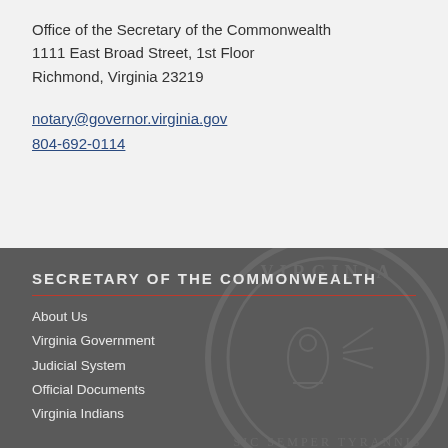Office of the Secretary of the Commonwealth
1111 East Broad Street, 1st Floor
Richmond, Virginia 23219
notary@governor.virginia.gov
804-692-0114
SECRETARY OF THE COMMONWEALTH
About Us
Virginia Government
Judicial System
Official Documents
Virginia Indians